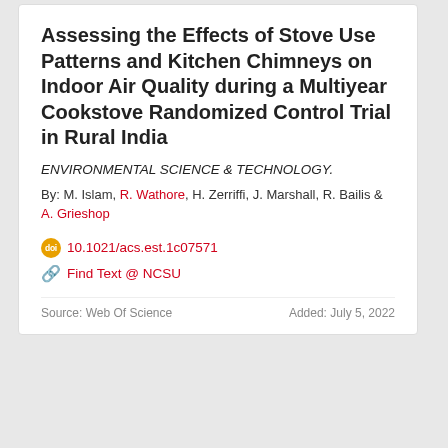Assessing the Effects of Stove Use Patterns and Kitchen Chimneys on Indoor Air Quality during a Multiyear Cookstove Randomized Control Trial in Rural India
ENVIRONMENTAL SCIENCE & TECHNOLOGY.
By: M. Islam, R. Wathore, H. Zerriffi, J. Marshall, R. Bailis & A. Grieshop
10.1021/acs.est.1c07571
Find Text @ NCSU
Source: Web Of Science   Added: July 5, 2022